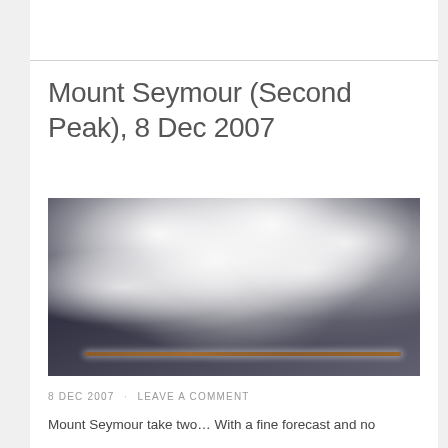Mount Seymour (Second Peak), 8 Dec 2007
[Figure (photo): Close-up photograph of hoarfrost-covered pine or conifer branches against a dark background. The frost crystals appear white and feathery, coating the branch tips. A brown branch runs diagonally. The overall palette is dark grey/black background with white frosted foliage.]
8 DEC 2007  ·  LEAVE A COMMENT
Mount Seymour take two… With a fine forecast and no